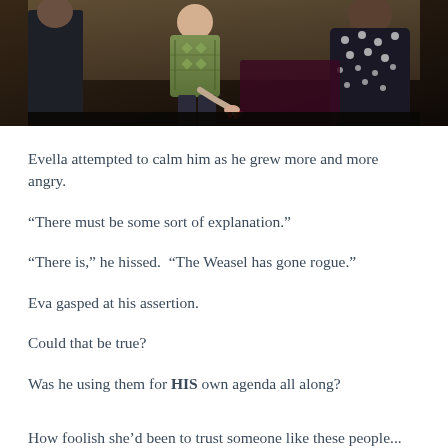[Figure (screenshot): A video game screenshot (likely The Sims) showing characters in a room. A child in a green patterned cardigan and dark pants stands in the center. Nearby is a figure in a dark suit and another in a dark polka-dot dress. The scene appears to be an indoor setting with dark/moody lighting.]
Evella attempted to calm him as he grew more and more angry.
“There must be some sort of explanation.”
“There is,” he hissed.  “The Weasel has gone rogue.”
Eva gasped at his assertion.
Could that be true?
Was he using them for HIS own agenda all along?
How foolish she’d been to trust someone like these people...